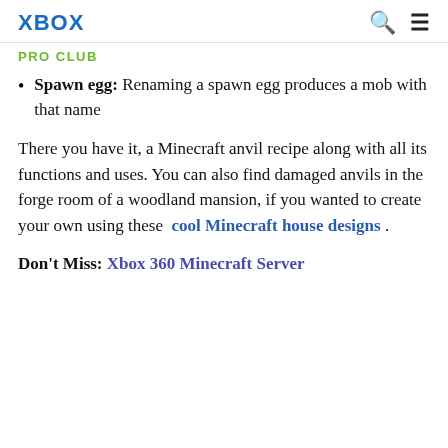XBOX
PRO CLUB
Spawn egg: Renaming a spawn egg produces a mob with that name
There you have it, a Minecraft anvil recipe along with all its functions and uses. You can also find damaged anvils in the forge room of a woodland mansion, if you wanted to create your own using these cool Minecraft house designs .
Don't Miss: Xbox 360 Minecraft Server